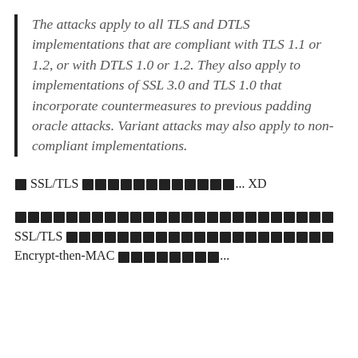The attacks apply to all TLS and DTLS implementations that are compliant with TLS 1.1 or 1.2, or with DTLS 1.0 or 1.2. They also apply to implementations of SSL 3.0 and TLS 1.0 that incorporate countermeasures to previous padding oracle attacks. Variant attacks may also apply to non-compliant implementations.
■ SSL/TLS ████████████... XD
█████████████████████████
SSL/TLS ████████████████████
Encrypt-then-MAC ████████...